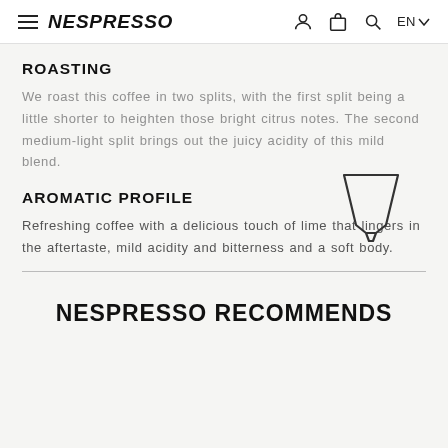NESPRESSO — navigation header with hamburger menu, logo, user icon, bag icon, search icon, EN language selector
ROASTING
We roast this coffee in two splits, with the first split being a little shorter to heighten those bright citrus notes. The second medium-light split brings out the juicy acidity of this mild blend.
AROMATIC PROFILE
[Figure (illustration): Line drawing of a Nespresso capsule (trapezoid shape with a small spout at bottom)]
Refreshing coffee with a delicious touch of lime that lingers in the aftertaste, mild acidity and bitterness and a soft body.
NESPRESSO RECOMMENDS